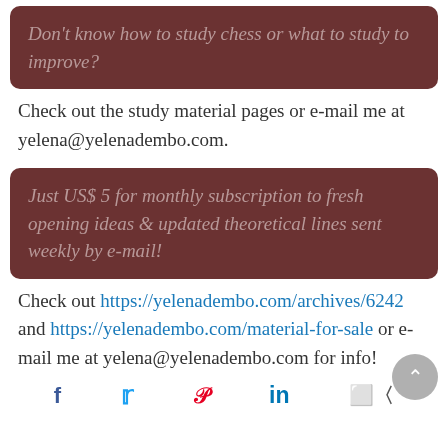Don't know how to study chess or what to study to improve?
Check out the study material pages or e-mail me at yelena@yelenadembo.com.
Just US$ 5 for monthly subscription to fresh opening ideas & updated theoretical lines sent weekly by e-mail!
Check out https://yelenadembo.com/archives/6242 and https://yelenadembo.com/material-for-sale or e-mail me at yelena@yelenadembo.com for info!